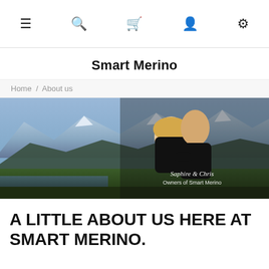≡  🔍  🛒  👤  ⚙
Smart Merino
Home / About us
[Figure (photo): A couple (Saphire and Chris, Owners of Smart Merino) posing outdoors with a mountainous and forested landscape in the background. Text overlay reads: Saphire & Chris / Owners of Smart Merino.]
A LITTLE ABOUT US HERE AT SMART MERINO.